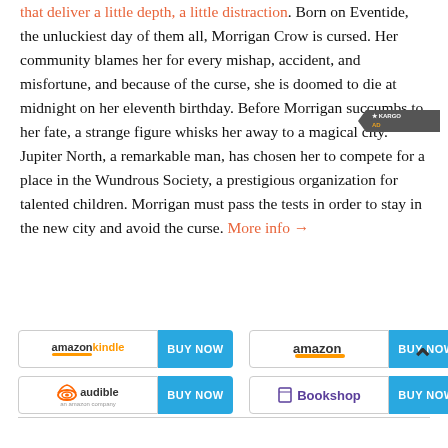that deliver a little depth, a little distraction. Born on Eventide, the unluckiest day of them all, Morrigan Crow is cursed. Her community blames her for every mishap, accident, and misfortune, and because of the curse, she is doomed to die at midnight on her eleventh birthday. Before Morrigan succumbs to her fate, a strange figure whisks her away to a magical city. Jupiter North, a remarkable man, has chosen her to compete for a place in the Wundrous Society, a prestigious organization for talented children. Morrigan must pass the tests in order to stay in the new city and avoid the curse. More info →